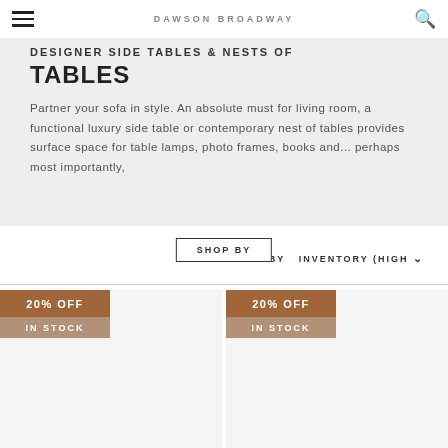DAWSON BROADWAY
DESIGNER SIDE TABLES & NESTS OF TABLES
Partner your sofa in style. An absolute must for living room, a functional luxury side table or contemporary nest of tables provides surface space for table lamps, photo frames, books and... perhaps most importantly,
SORT BY  INVENTORY (HIGH
SHOP BY
[Figure (other): Product card with 20% OFF badge and IN STOCK label]
[Figure (other): Product card with 20% OFF badge and IN STOCK label]